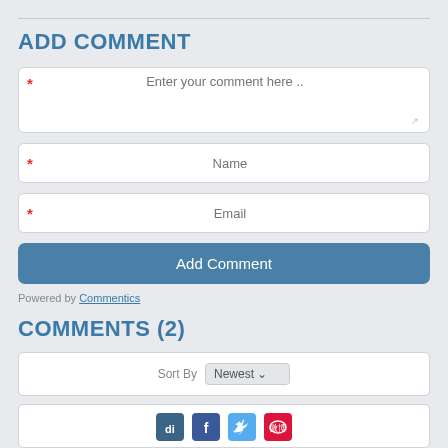ADD COMMENT
[Figure (screenshot): Comment form with textarea for 'Enter your comment here ..', Name field, Email field, and Add Comment submit button. Each field has a red asterisk required marker.]
Powered by Commentics
COMMENTS (2)
Sort By Newest
[Figure (infographic): Social sharing icons: Digg (di), Facebook (f), Twitter bird, Weibo]